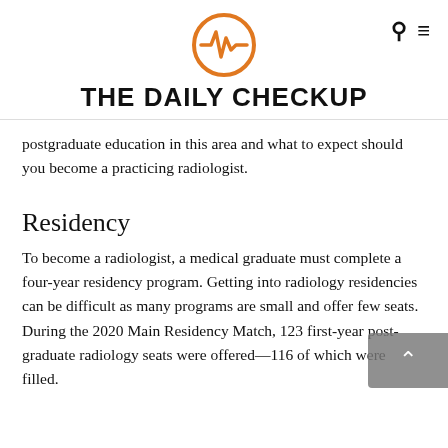THE DAILY CHECKUP
postgraduate education in this area and what to expect should you become a practicing radiologist.
Residency
To become a radiologist, a medical graduate must complete a four-year residency program. Getting into radiology residencies can be difficult as many programs are small and offer few seats. During the 2020 Main Residency Match, 123 first-year post-graduate radiology seats were offered—116 of which were filled.